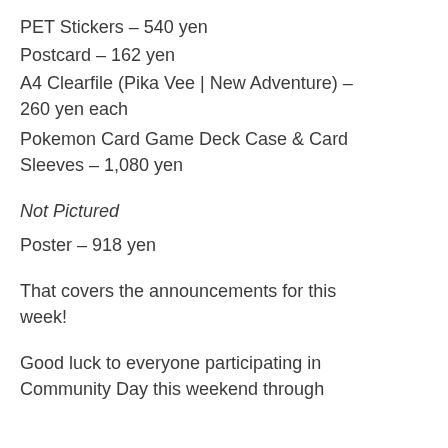PET Stickers – 540 yen
Postcard – 162 yen
A4 Clearfile (Pika Vee | New Adventure) – 260 yen each
Pokemon Card Game Deck Case & Card Sleeves – 1,080 yen
Not Pictured
Poster – 918 yen
That covers the announcements for this week!
Good luck to everyone participating in Community Day this weekend through